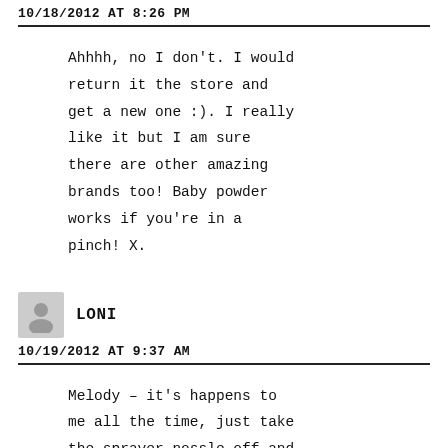10/18/2012 AT 8:26 PM
Ahhhh, no I don't. I would return it the store and get a new one :). I really like it but I am sure there are other amazing brands too! Baby powder works if you're in a pinch! X.
LONI
10/19/2012 AT 9:37 AM
Melody – it's happens to me all the time, just take the sprayer nossle off and